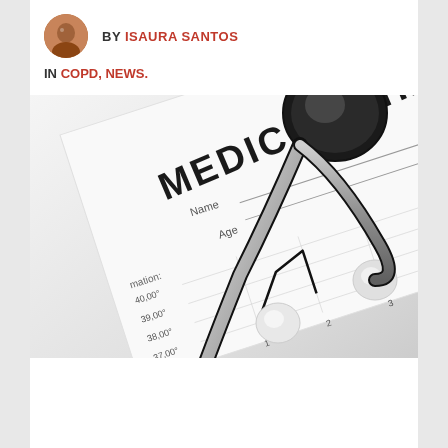BY ISAURA SANTOS
IN COPD, NEWS.
[Figure (photo): A medical chart with 'MEDICAL CHART' text visible, showing Name, Age fields, a line graph with temperature readings (36,00° to 40,00°), and a stethoscope resting on top of the chart]